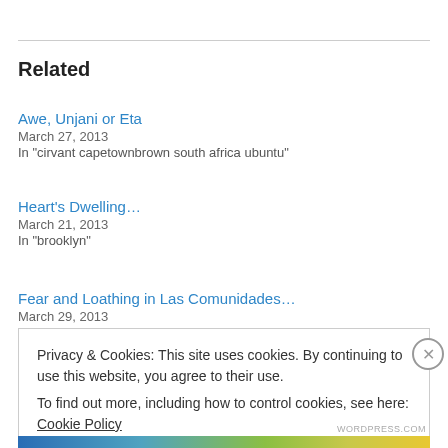Related
Awe, Unjani or Eta
March 27, 2013
In "cirvant capetownbrown south africa ubuntu"
Heart's Dwelling…
March 21, 2013
In "brooklyn"
Fear and Loathing in Las Comunidades…
March 29, 2013
Privacy & Cookies: This site uses cookies. By continuing to use this website, you agree to their use.
To find out more, including how to control cookies, see here: Cookie Policy
Close and accept